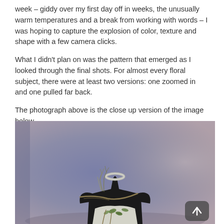week – giddy over my first day off in weeks, the unusually warm temperatures and a break from working with words – I was hoping to capture the explosion of color, texture and shape with a few camera clicks.

What I didn't plan on was the pattern that emerged as I looked through the final shots. For almost every floral subject, there were at least two versions: one zoomed in and one pulled far back.

The photograph above is the close up version of the image below.
[Figure (photo): A black dress form/mannequin torso with a silver collar ring, draped with botanical/floral arrangement including green leaves and dry branches, against a muted purple-grey blurred background. A scroll-up arrow button is visible in the bottom right corner of the image.]